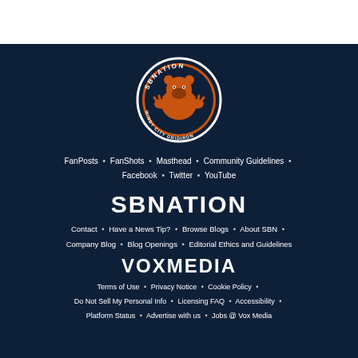[Figure (logo): White/gray top bar area]
[Figure (logo): SBNation Windy City Gridiron circular logo with orange bear graphic on dark navy background]
FanPosts • FanShots • Masthead • Community Guidelines • Facebook • Twitter • YouTube
[Figure (logo): SBNATION text logo in white bold uppercase letters]
Contact • Have a News Tip? • Browse Blogs • About SBN • Company Blog • Blog Openings • Editorial Ethics and Guidelines
[Figure (logo): VOXMEDIA text logo in white bold uppercase letters]
Terms of Use • Privacy Notice • Cookie Policy • Do Not Sell My Personal Info • Licensing FAQ • Accessibility • Platform Status • Advertise with us • Jobs @ Vox Media